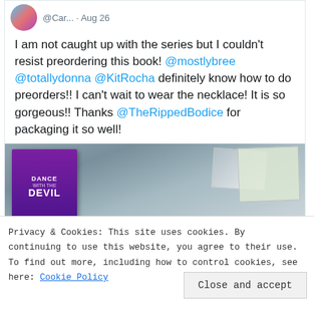@Car... · Aug 26
I am not caught up with the series but I couldn't resist preordering this book! @mostlybree @totallydonna @KitRocha definitely know how to do preorders!! I can't wait to wear the necklace! It is so gorgeous!! Thanks @TheRippedBodice for packaging it so well!
[Figure (photo): Photo of a book 'Dance with the Devil' alongside postcards and photos spread out]
Privacy & Cookies: This site uses cookies. By continuing to use this website, you agree to their use.
To find out more, including how to control cookies, see here: Cookie Policy
Close and accept
CaffeinatedE... [Twitter icon]